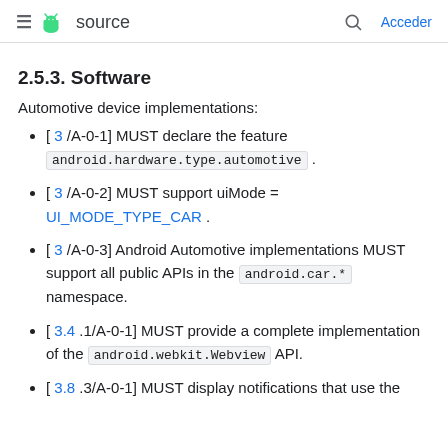≡  source   🔍  Acceder
2.5.3. Software
Automotive device implementations:
[ 3 /A-0-1] MUST declare the feature android.hardware.type.automotive .
[ 3 /A-0-2] MUST support uiMode = UI_MODE_TYPE_CAR .
[ 3 /A-0-3] Android Automotive implementations MUST support all public APIs in the android.car.* namespace.
[ 3.4 .1/A-0-1] MUST provide a complete implementation of the android.webkit.Webview API.
[ 3.8 .3/A-0-1] MUST display notifications that use the